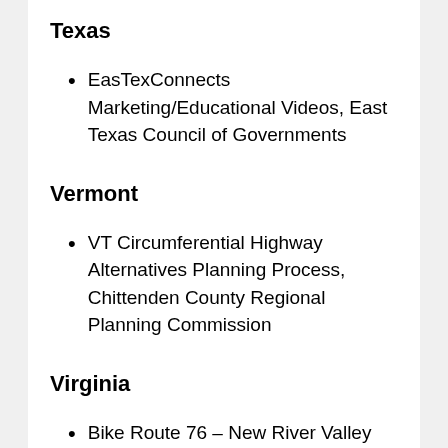Texas
EasTexConnects Marketing/Educational Videos, East Texas Council of Governments
Vermont
VT Circumferential Highway Alternatives Planning Process, Chittenden County Regional Planning Commission
Virginia
Bike Route 76 – New River Valley Report, New River Valley Planning District Commission
Sustainable Transportation Summit, Roanoke Valley-Alleghany Regional...